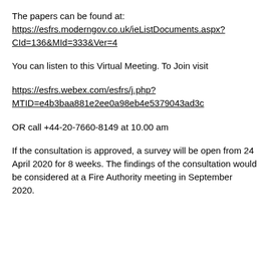The papers can be found at:
https://esfrs.moderngov.co.uk/ieListDocuments.aspx?CId=136&MId=333&Ver=4
You can listen to this Virtual Meeting. To Join visit
https://esfrs.webex.com/esfrs/j.php?MTID=e4b3baa881e2ee0a98eb4e5379043ad3c
OR call +44-20-7660-8149 at 10.00 am
If the consultation is approved, a survey will be open from 24 April 2020 for 8 weeks. The findings of the consultation would be considered at a Fire Authority meeting in September 2020.